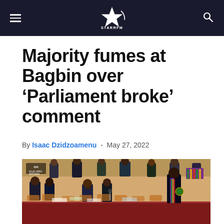STARRFM
Majority fumes at Bagbin over 'Parliament broke' comment
By Isaac Dzidzoamenu - May 27, 2022
[Figure (photo): Parliament chamber scene with members of parliament seated, one figure in ceremonial robes with kente stole visible standing]